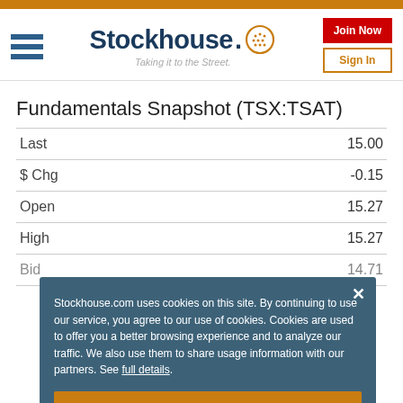Stockhouse — Taking it to the Street.
Fundamentals Snapshot (TSX:TSAT)
| Field | Value |
| --- | --- |
| Last | 15.00 |
| $ Chg | -0.15 |
| Open | 15.27 |
| High | 15.27 |
| Bid | 14.71 |
Stockhouse.com uses cookies on this site. By continuing to use our service, you agree to our use of cookies. Cookies are used to offer you a better browsing experience and to analyze our traffic. We also use them to share usage information with our partners. See full details.